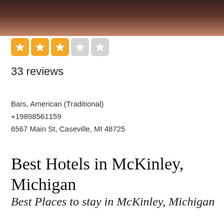[Figure (photo): Dark brown/amber colored photo strip at the top of the page]
[Figure (other): Star rating display: 3 filled orange stars and 2 empty grey stars]
33 reviews
Bars, American (Traditional)
+19898561159
6567 Main St, Caseville, MI 48725
Best Hotels in McKinley, Michigan
Best Places to stay in McKinley, Michigan